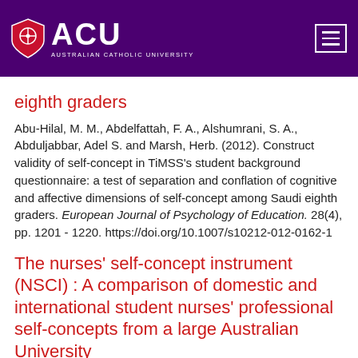ACU - Australian Catholic University
eighth graders
Abu-Hilal, M. M., Abdelfattah, F. A., Alshumrani, S. A., Abduljabbar, Adel S. and Marsh, Herb. (2012). Construct validity of self-concept in TiMSS's student background questionnaire: a test of separation and conflation of cognitive and affective dimensions of self-concept among Saudi eighth graders. European Journal of Psychology of Education. 28(4), pp. 1201 - 1220. https://doi.org/10.1007/s10212-012-0162-1
The nurses' self-concept instrument (NSCI) : A comparison of domestic and international student nurses' professional self-concepts from a large Australian University